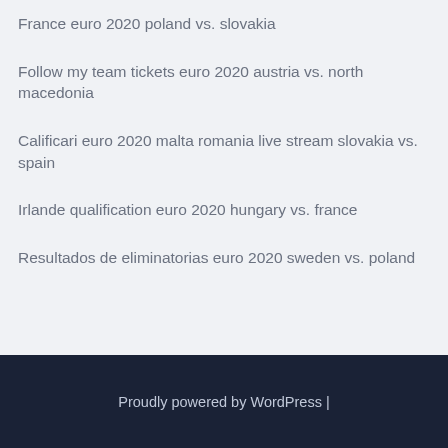France euro 2020 poland vs. slovakia
Follow my team tickets euro 2020 austria vs. north macedonia
Calificari euro 2020 malta romania live stream slovakia vs. spain
Irlande qualification euro 2020 hungary vs. france
Resultados de eliminatorias euro 2020 sweden vs. poland
Proudly powered by WordPress |